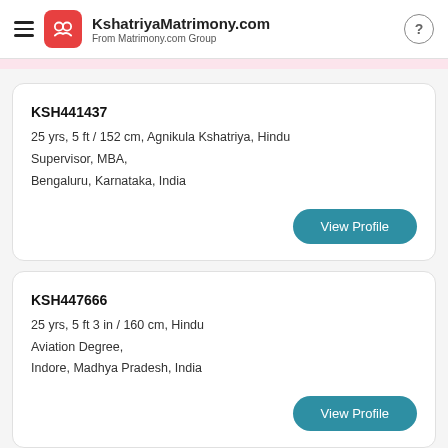KshatriyaMatrimony.com — From Matrimony.com Group
KSH441437
25 yrs, 5 ft / 152 cm, Agnikula Kshatriya, Hindu
Supervisor, MBA,
Bengaluru, Karnataka, India
View Profile
KSH447666
25 yrs, 5 ft 3 in / 160 cm, Hindu
Aviation Degree,
Indore, Madhya Pradesh, India
View Profile